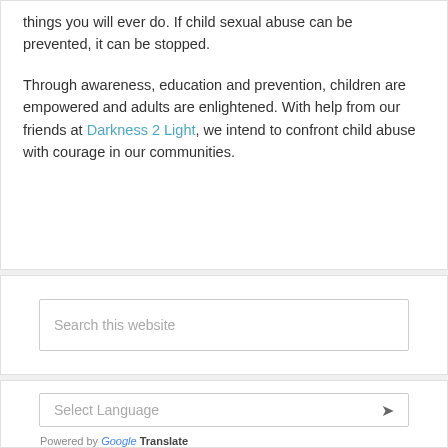things you will ever do. If child sexual abuse can be prevented, it can be stopped.
Through awareness, education and prevention, children are empowered and adults are enlightened. With help from our friends at Darkness 2 Light, we intend to confront child abuse with courage in our communities.
Search this website
Select Language
Powered by Google Translate